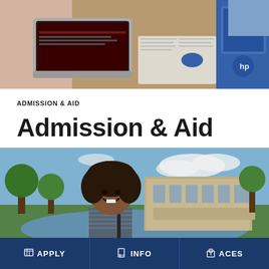[Figure (photo): Students sitting at a table with laptops open, studying together in a library or classroom setting. Visible are a silver MacBook and a blue HP laptop.]
ADMISSION & AID
Admission & Aid
[Figure (photo): A smiling young woman with curly hair standing outdoors on a college campus, with a pond and modern university building visible in the background.]
APPLY   INFO   ACES